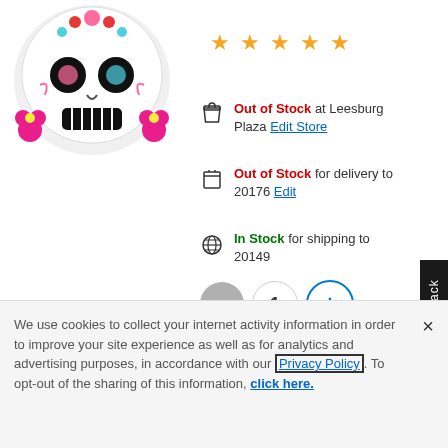[Figure (photo): Sugar skull / Day of the Dead decorative sticker with colorful floral designs, pink flowers, teal accents on white background]
[Figure (other): Five gold star rating icons]
Out of Stock at Leesburg Plaza Edit Store
Out of Stock for delivery to 20176 Edit
In Stock for shipping to 20149
1 (quantity selector with minus and plus buttons)
Add to Cart
We use cookies to collect your internet activity information in order to improve your site experience as well as for analytics and advertising purposes, in accordance with our Privacy Policy. To opt-out of the sharing of this information, click here.